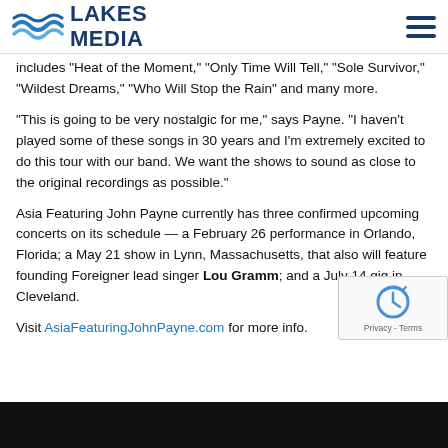LAKES MEDIA
includes “Heat of the Moment,” “Only Time Will Tell,” “Sole Survivor,” “Wildest Dreams,” “Who Will Stop the Rain” and many more.
“This is going to be very nostalgic for me,” says Payne. “I haven’t played some of these songs in 30 years and I’m extremely excited to do this tour with our band. We want the shows to sound as close to the original recordings as possible.”
Asia Featuring John Payne currently has three confirmed upcoming concerts on its schedule — a February 26 performance in Orlando, Florida; a May 21 show in Lynn, Massachusetts, that also will feature founding Foreigner lead singer Lou Gramm; and a July 14 gig in Cleveland.
Visit AsiaFeaturingJohnPayne.com for more info.